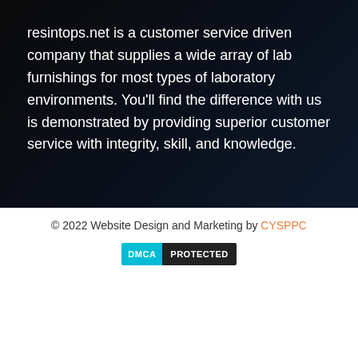resintops.net is a customer service driven company that supplies a wide array of lab furnishings for most types of laboratory environments. You'll find the difference with us is demonstrated by providing superior customer service with integrity, skill, and knowledge.
© 2022 Website Design and Marketing by CYSPPC
[Figure (other): DMCA Protected badge with cyan DMCA label and black PROTECTED label]